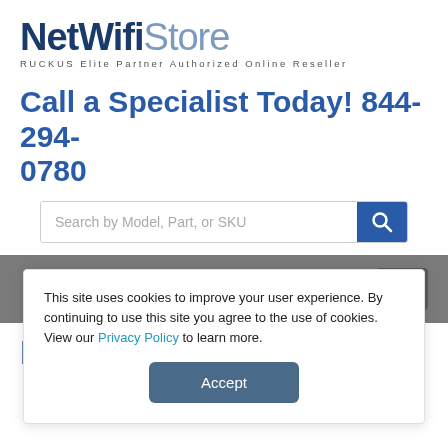NetWifiStore — RUCKUS Elite Partner Authorized Online Reseller
Call a Specialist Today! 844-294-0780
[Figure (screenshot): Search bar with placeholder text 'Search by Model, Part, or SKU' and blue search button with magnifying glass icon]
[Figure (screenshot): Gray navigation bar with hamburger menu icon on the right]
RUCKUS ZoneFlex T300
This site uses cookies to improve your user experience. By continuing to use this site you agree to the use of cookies. View our Privacy Policy to learn more.